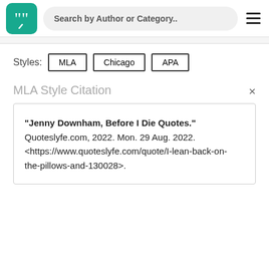[Figure (logo): Quoteslyfe logo: green rounded square with white quotation mark icon]
Search by Author or Category..
Styles: MLA  Chicago  APA
MLA Style Citation
"Jenny Downham, Before I Die Quotes." Quoteslyfe.com, 2022. Mon. 29 Aug. 2022. <https://www.quoteslyfe.com/quote/I-lean-back-on-the-pillows-and-130028>.